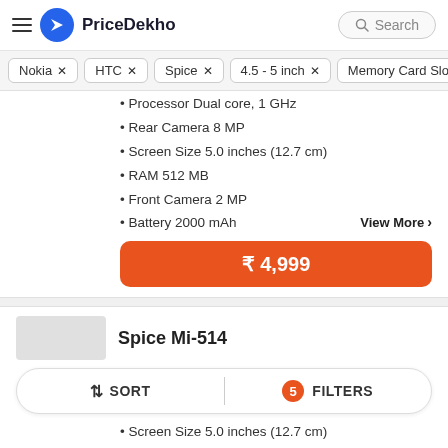PriceDekho
Nokia ×
HTC ×
Spice ×
4.5 - 5 inch ×
Memory Card Slot
Processor Dual core, 1 GHz
Rear Camera 8 MP
Screen Size 5.0 inches (12.7 cm)
RAM 512 MB
Front Camera 2 MP
Battery 2000 mAh
View More >
₹ 4,999
Spice Mi-514
SORT  FILTERS 5
Screen Size 5.0 inches (12.7 cm)
RAM 256 MB